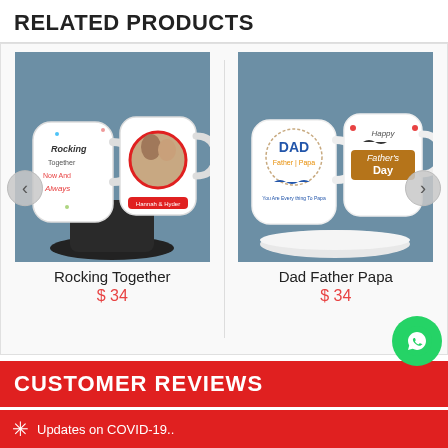RELATED PRODUCTS
[Figure (photo): Two white mugs with 'Rocking Together Now And Always' text and a couple photo, displayed on a dark cylindrical stand against blue-grey background]
Rocking Together
$ 34
[Figure (photo): Two white mugs with 'DAD Father Papa' and 'Happy Father's Day' text, displayed on a white round tray against blue-grey background]
Dad Father Papa
$ 34
CUSTOMER REVIEWS
★★★★★
27/08/2022
Updates on COVID-19..